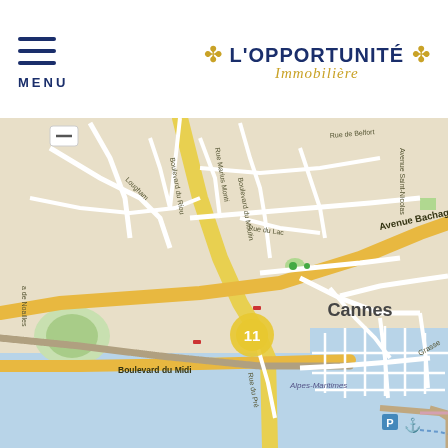MENU | L'OPPORTUNITÉ Immobilière
[Figure (map): Street map of Cannes, France showing Boulevard du Riou, Boulevard du Moulin, Avenue Bachaga Boualam, Cours Felix Faure, Rue Meynadier, Boulevard du Midi, Alpes-Maritimes, Rue du Pré, and the Cannes marina/harbor area. A numbered marker '11' is shown in golden/yellow color near the city center.]